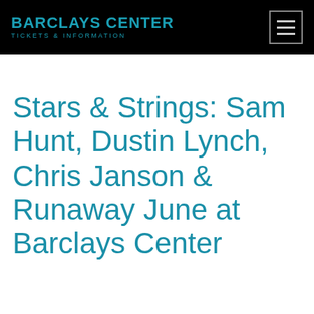BARCLAYS CENTER TICKETS & INFORMATION
Stars & Strings: Sam Hunt, Dustin Lynch, Chris Janson & Runaway June at Barclays Center